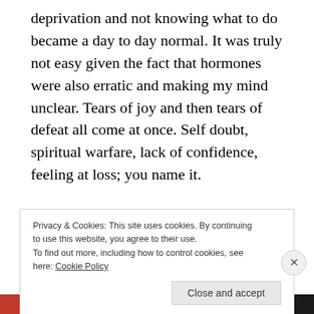deprivation and not knowing what to do became a day to day normal. It was truly not easy given the fact that hormones were also erratic and making my mind unclear. Tears of joy and then tears of defeat all come at once. Self doubt, spiritual warfare, lack of confidence, feeling at loss; you name it.

I thought I knew what it's like or at least I thought I could imagine it well enough. Turned out that my imagination was not as concrete as the real experience.
Privacy & Cookies: This site uses cookies. By continuing to use this website, you agree to their use.
To find out more, including how to control cookies, see here: Cookie Policy